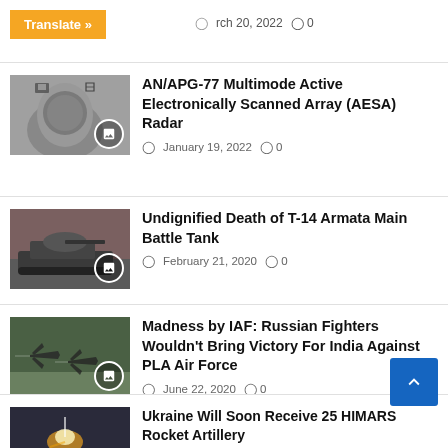Translate »  rch 20, 2022  0
AN/APG-77 Multimode Active Electronically Scanned Array (AESA) Radar
January 19, 2022  0
Undignified Death of T-14 Armata Main Battle Tank
February 21, 2020  0
Madness by IAF: Russian Fighters Wouldn't Bring Victory For India Against PLA Air Force
June 22, 2020  0
Ukraine Will Soon Receive 25 HIMARS Rocket Artillery